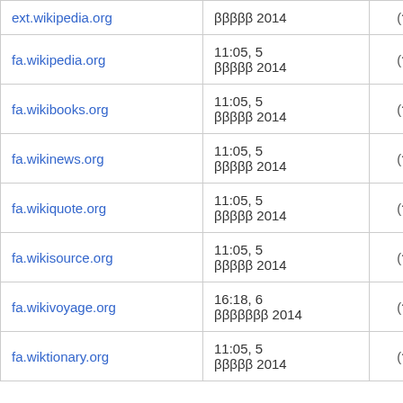| ext.wikipedia.org | ββββββ 2014 | (?) | — |
| fa.wikipedia.org | 11:05, 5 ββββββ 2014 | (?) | — |
| fa.wikibooks.org | 11:05, 5 ββββββ 2014 | (?) | — |
| fa.wikinews.org | 11:05, 5 ββββββ 2014 | (?) | — |
| fa.wikiquote.org | 11:05, 5 ββββββ 2014 | (?) | — |
| fa.wikisource.org | 11:05, 5 ββββββ 2014 | (?) | — |
| fa.wikivoyage.org | 16:18, 6 βββββββ 2014 | (?) | — |
| fa.wiktionary.org | 11:05, 5 ββββββ 2014 | (?) | — |